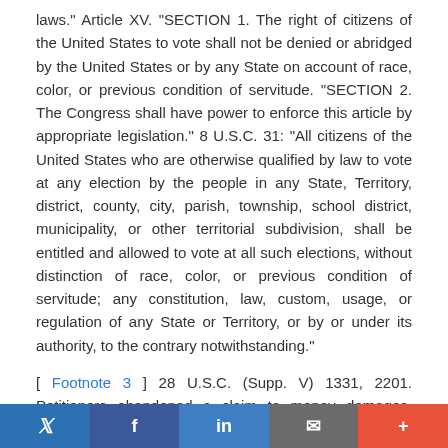laws." Article XV. "SECTION 1. The right of citizens of the United States to vote shall not be denied or abridged by the United States or by any State on account of race, color, or previous condition of servitude. "SECTION 2. The Congress shall have power to enforce this article by appropriate legislation." 8 U.S.C. 31: "All citizens of the United States who are otherwise qualified by law to vote at any election by the people in any State, Territory, district, county, city, parish, township, school district, municipality, or other territorial subdivision, shall be entitled and allowed to vote at all such elections, without distinction of race, color, or previous condition of servitude; any constitution, law, custom, usage, or regulation of any State or Territory, or by or under its authority, to the contrary notwithstanding."
[ Footnote 3 ] 28 U.S.C. (Supp. V) 1331, 2201. Petitioners abandoned a claim to money damages, apparently